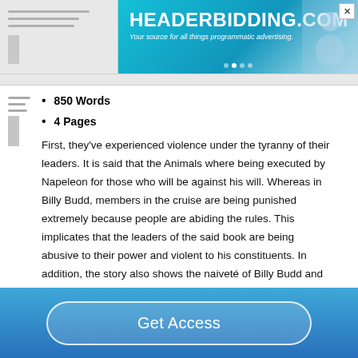[Figure (other): HeaderBidding.com advertisement banner with teal/blue gradient background, white text logo and subtitle, decorative person silhouette on right]
850 Words
4 Pages
First, they've experienced violence under the tyranny of their leaders. It is said that the Animals where being executed by Napeleon for those who will be against his will. Whereas in Billy Budd, members in the cruise are being punished extremely because people are abiding the rules. This implicates that the leaders of the said book are being abusive to their power and violent to his constituents. In addition, the story also shows the naiveté of Billy Budd and Boxer in Animal farm believing that their leaders are always
Get Access